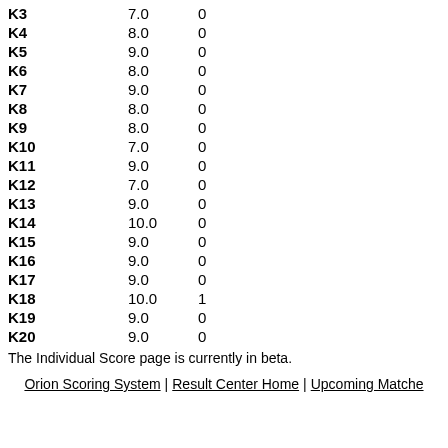| K3 | 7.0 | 0 |
| K4 | 8.0 | 0 |
| K5 | 9.0 | 0 |
| K6 | 8.0 | 0 |
| K7 | 9.0 | 0 |
| K8 | 8.0 | 0 |
| K9 | 8.0 | 0 |
| K10 | 7.0 | 0 |
| K11 | 9.0 | 0 |
| K12 | 7.0 | 0 |
| K13 | 9.0 | 0 |
| K14 | 10.0 | 0 |
| K15 | 9.0 | 0 |
| K16 | 9.0 | 0 |
| K17 | 9.0 | 0 |
| K18 | 10.0 | 1 |
| K19 | 9.0 | 0 |
| K20 | 9.0 | 0 |
The Individual Score page is currently in beta.
Orion Scoring System | Result Center Home | Upcoming Matches